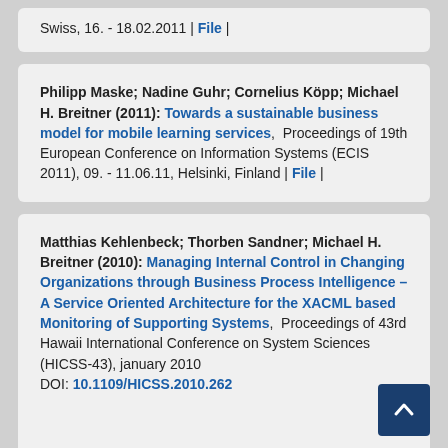Swiss, 16. - 18.02.2011 | File |
Philipp Maske; Nadine Guhr; Cornelius Köpp; Michael H. Breitner (2011): Towards a sustainable business model for mobile learning services, Proceedings of 19th European Conference on Information Systems (ECIS 2011), 09. - 11.06.11, Helsinki, Finland | File |
Matthias Kehlenbeck; Thorben Sandner; Michael H. Breitner (2010): Managing Internal Control in Changing Organizations through Business Process Intelligence – A Service Oriented Architecture for the XACML based Monitoring of Supporting Systems, Proceedings of 43rd Hawaii International Conference on System Sciences (HICSS-43), january 2010 DOI: 10.1109/HICSS.2010.262